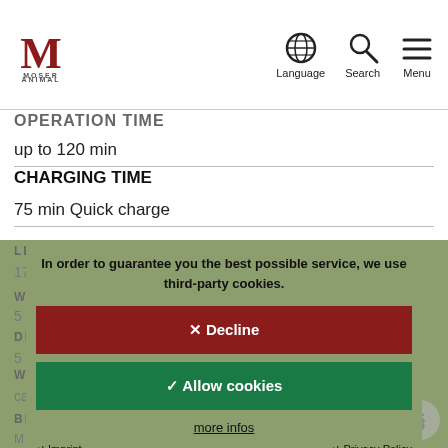MOSER ANIMAL — Language, Search, Menu
OPERATION TIME
up to 120 min
CHARGING TIME
75 min Quick charge
LENGTH
17…mm
WIDTH
5…
DEPTH
5…
WEIGHT
ca. 280 g
BLADE SET
MAGIC BLADE
In order to guarantee you the best possible service, we use third-party cookies.
✕ Decline
✓ Allow cookies
more infos
↵ Imprint   ↵ Privacy Policy